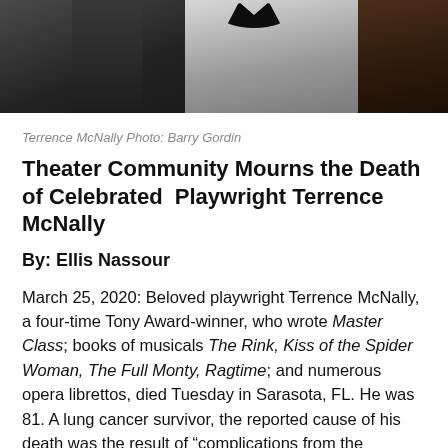[Figure (photo): Three men in formal tuxedos, cropped at chest/shoulder level against a light background. The image shows only the lower portion of the figures.]
Terrence McNally Photo: Barry Gordin
Theater Community Mourns the Death of Celebrated Playwright Terrence McNally
By: Ellis Nassour
March 25, 2020: Beloved playwright Terrence McNally, a four-time Tony Award-winner, who wrote Master Class; books of musicals The Rink, Kiss of the Spider Woman, The Full Monty, Ragtime; and numerous opera librettos, died Tuesday in Sarasota, FL. He was 81. A lung cancer survivor, the reported cause of his death was the result of “complications from the coronavirus.”